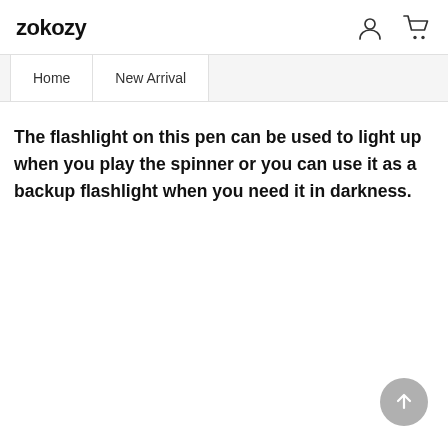zokozy
Home   New Arrival
The flashlight on this pen can be used to light up when you play the spinner or you can use it as a backup flashlight when you need it in darkness.